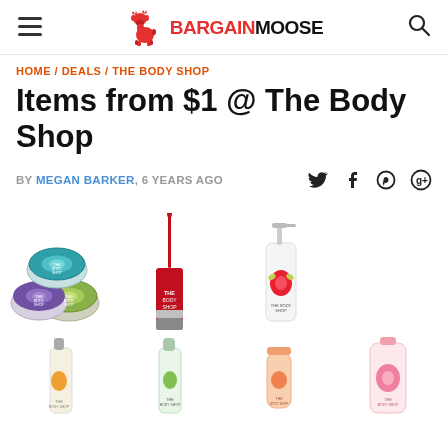BargainMoose
HOME / DEALS / THE BODY SHOP
Items from $1 @ The Body Shop
BY MEGAN BARKER, 6 YEARS AGO
[Figure (photo): Grid of The Body Shop product images including eyeshadow palettes, lip gloss, spray bottle, hair oil, toner, lip scrub, and body wash]
[Figure (logo): BargainMoose logo with red moose icon and bold text BARGAINMOOSE]